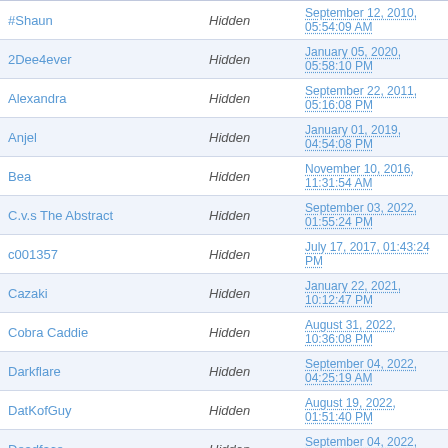| Name | Status | Date |
| --- | --- | --- |
| #Shaun | Hidden | September 12, 2010, 05:54:09 AM |
| 2Dee4ever | Hidden | January 05, 2020, 05:58:10 PM |
| Alexandra | Hidden | September 22, 2011, 05:16:08 PM |
| Anjel | Hidden | January 01, 2019, 04:54:08 PM |
| Bea | Hidden | November 10, 2016, 11:31:54 AM |
| C.v.s The Abstract | Hidden | September 03, 2022, 01:55:24 PM |
| c001357 | Hidden | July 17, 2017, 01:43:24 PM |
| Cazaki | Hidden | January 22, 2021, 10:12:47 PM |
| Cobra Caddie | Hidden | August 31, 2022, 10:36:08 PM |
| Darkflare | Hidden | September 04, 2022, 04:25:19 AM |
| DatKofGuy | Hidden | August 19, 2022, 01:51:40 PM |
| Deadface | Hidden | September 04, 2022, 08:23:59 AM |
| Diepod | Hidden | September 05, 2022, 05:47:12 AM |
| DNZRX768 | Hidden | April 02, 2022, 06:25:09 PM |
| DRACUL | Hidden | June 06, 2010, 05:55:40 PM |
| drewski90 | Hidden | September 05, 2022, 03:36:33 PM |
| DW | Hidden | August 20, 2022, 09:56:16 PM |
| Erroratu | Hidden | November 17, 2020, 12:57:46 PM |
| Formerly Hoshi | Hidden | August 29, 2022, 02:56:11 PM |